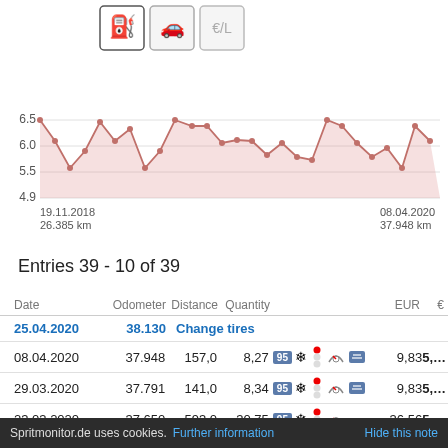[Figure (area-chart): Fuel consumption over time]
Entries 39 - 10 of 39
| Date | Odometer | Distance | Quantity |  | EUR | €/L |
| --- | --- | --- | --- | --- | --- | --- |
| 25.04.2020 | 38.130 | Change tires |  |  |  |  |
| 08.04.2020 | 37.948 | 157,0 | 8,27 | 95 ❄ | 9,83 | 5,… |
| 29.03.2020 | 37.791 | 141,0 | 8,34 | 95 ❄ | 9,83 | 5,… |
| 23.03.2020 | 37.650 | 593,0 | 30,75 | 95 ❄ | 36,56 | 5,… |
Spritmonitor.de uses cookies. Further information   Hide this note